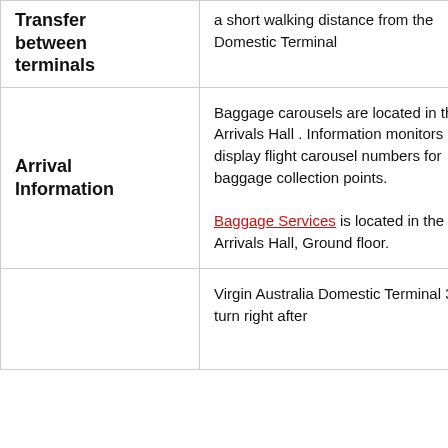|  |  |
| --- | --- |
| Transfer between terminals | a short walking distance from the Domestic Terminal |
| Arrival Information | Baggage carousels are located in the Arrivals Hall . Information monitors display flight carousel numbers for baggage collection points.

Baggage Services is located in the Arrivals Hall, Ground floor. |
|  | Virgin Australia Domestic Terminal 3 – turn right after |